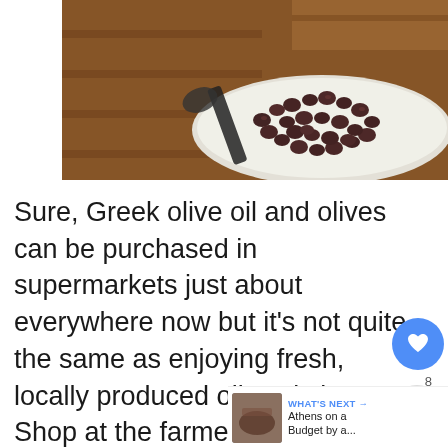[Figure (photo): Close-up photo of dark cured olives in a white bowl/plate next to a wooden barrel, with a serving scoop visible]
Sure, Greek olive oil and olives can be purchased in supermarkets just about everywhere now but it’s not quite the same as enjoying fresh, locally produced olives is it?! Shop at the farmers market and you’ll find olive oil sold in plastic water bottles – Can’t get any more ‘homegrown’ th...
WHAT’S NEXT → Athens on a Budget by a...